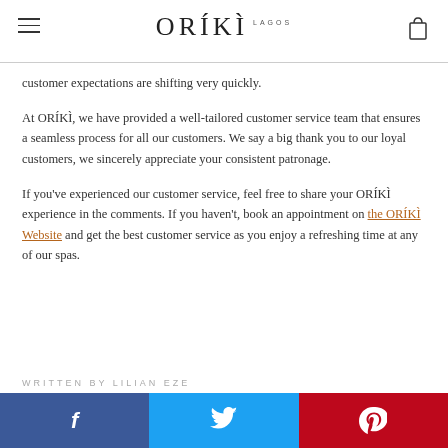ORÍKÌ LAGOS
customer expectations are shifting very quickly.
At ORÍKÌ, we have provided a well-tailored customer service team that ensures a seamless process for all our customers. We say a big thank you to our loyal customers, we sincerely appreciate your consistent patronage.
If you've experienced our customer service, feel free to share your ORÍKÌ experience in the comments. If you haven't, book an appointment on the ORÍKÌ Website and get the best customer service as you enjoy a refreshing time at any of our spas.
WRITTEN BY LILIAN EZE
[Figure (other): Social media sharing bar with Facebook (blue), Twitter (light blue), and Pinterest (red) buttons]